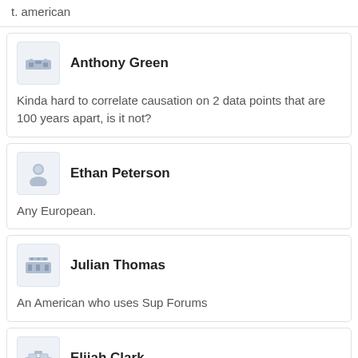t. american
Anthony Green
Kinda hard to correlate causation on 2 data points that are 100 years apart, is it not?
Ethan Peterson
Any European.
Julian Thomas
An American who uses Sup Forums
Elijah Clark
Your mom for not swallowing